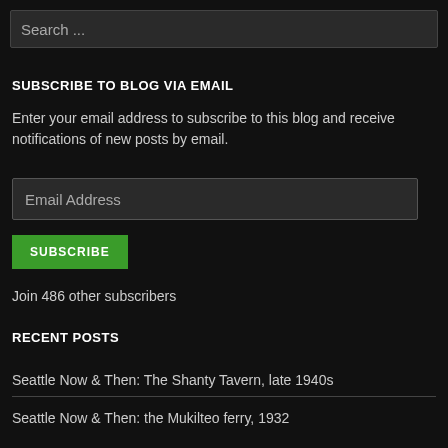Search ...
SUBSCRIBE TO BLOG VIA EMAIL
Enter your email address to subscribe to this blog and receive notifications of new posts by email.
Email Address
SUBSCRIBE
Join 486 other subscribers
RECENT POSTS
Seattle Now & Then: The Shanty Tavern, late 1940s
Seattle Now & Then: the Mukilteo ferry, 1932